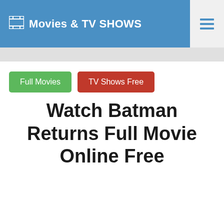Movies & TV SHOWS
Full Movies
TV Shows Free
Watch Batman Returns Full Movie Online Free